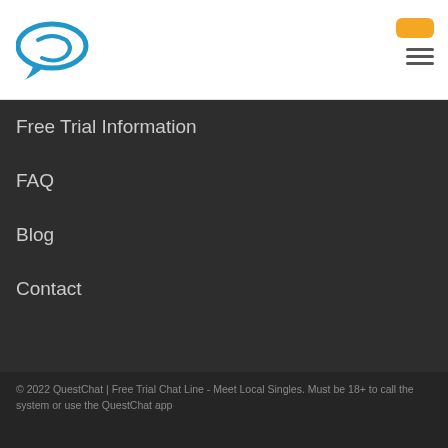[Figure (logo): QuestChat logo: a blue speech bubble / chat icon with a stylized Q shape]
Free Trial Information
FAQ
Blog
Contact
© 2022 QuestChat | Free Trial Chat Line - Meet Local Singles. Must be 18+ to call the system or use the QuestChat app